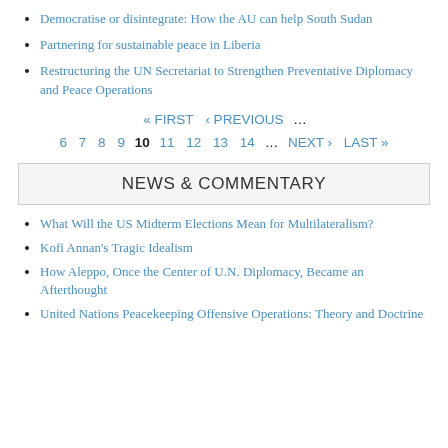Democratise or disintegrate: How the AU can help South Sudan
Partnering for sustainable peace in Liberia
Restructuring the UN Secretariat to Strengthen Preventative Diplomacy and Peace Operations
« FIRST  ‹ PREVIOUS  …  6  7  8  9  10  11  12  13  14  …  NEXT ›  LAST »
NEWS & COMMENTARY
What Will the US Midterm Elections Mean for Multilateralism?
Kofi Annan's Tragic Idealism
How Aleppo, Once the Center of U.N. Diplomacy, Became an Afterthought
United Nations Peacekeeping Offensive Operations: Theory and Doctrine